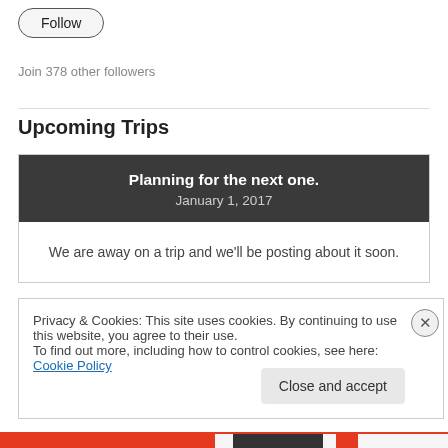Follow
Join 378 other followers
Upcoming Trips
Planning for the next one.
January 1, 2017
We are away on a trip and we'll be posting about it soon.
Privacy & Cookies: This site uses cookies. By continuing to use this website, you agree to their use.
To find out more, including how to control cookies, see here: Cookie Policy
Close and accept